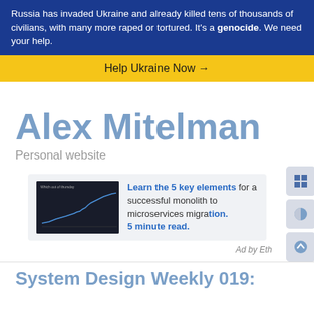Russia has invaded Ukraine and already killed tens of thousands of civilians, with many more raped or tortured. It's a genocide. We need your help.
Help Ukraine Now →
Alex Mitelman
Personal website
[Figure (screenshot): An ad card with a dark line chart thumbnail on the left and text on the right reading: Learn the 5 key elements for a successful monolith to microservices migration. 5 minute read. Ad by Eth...]
Ad by Eth
System Design Weekly 019: